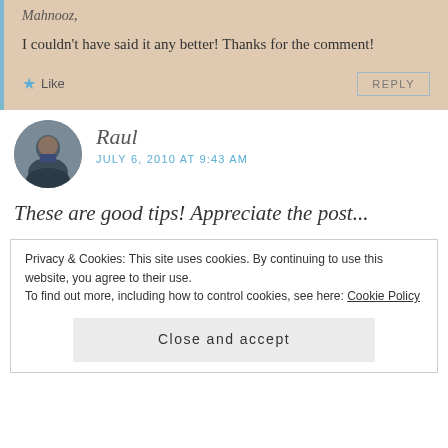Mahnooz,
I couldn't have said it any better! Thanks for the comment!
Like
REPLY
Raul
JULY 6, 2010 AT 9:43 AM
These are good tips! Appreciate the post...
Privacy & Cookies: This site uses cookies. By continuing to use this website, you agree to their use.
To find out more, including how to control cookies, see here: Cookie Policy
Close and accept